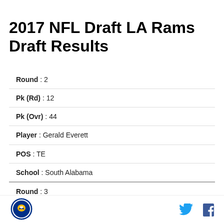2017 NFL Draft LA Rams Draft Results
| Round | 2 |
| Pk (Rd) | 12 |
| Pk (Ovr) | 44 |
| Player | Gerald Everett |
| POS | TE |
| School | South Alabama |
| Round | 3 |
| Pk (Rd) | 5 |
| Pk (Ovr) | 69 |
| Player | Cooper Kupp |
[Figure (logo): LA Rams circular logo with bird emblem, yellow and blue colors]